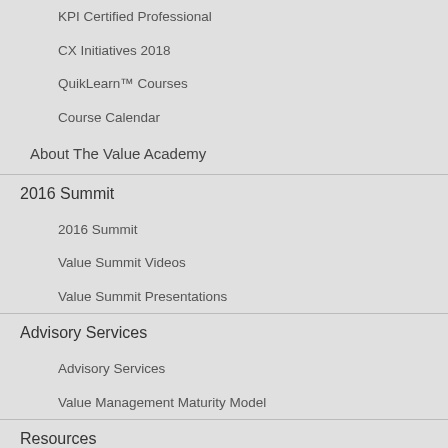KPI Certified Professional
CX Initiatives 2018
QuikLearn™ Courses
Course Calendar
About The Value Academy
2016 Summit
2016 Summit
Value Summit Videos
Value Summit Presentations
Advisory Services
Advisory Services
Value Management Maturity Model
Resources
Resources
Value Summit Terminology Guide